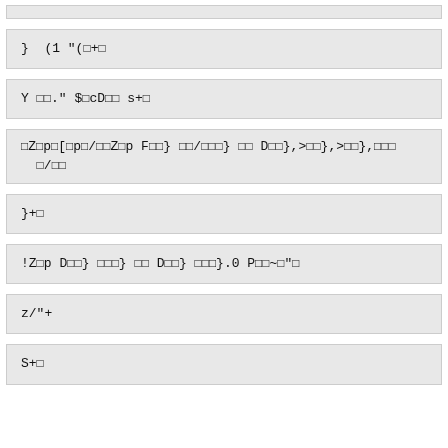}  (1 "(□+□
Y □□." $□cD□□ s+□
□Z□p□[□p□/□□Z□p F□□} □□/□□□} □□ D□□},>□□},>□□},□□□
  □/□□
}+□
!Z□p D□□} □□□} □□ D□□} □□□}.0 P□□~□"□
z/"+
S+□